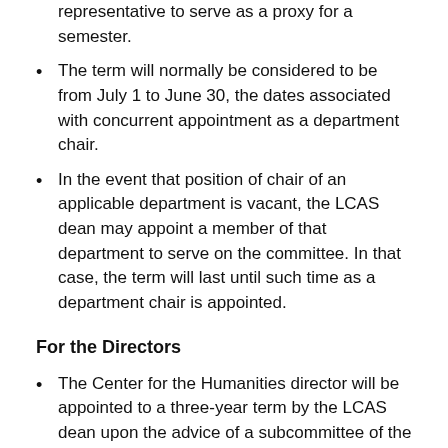representative to serve as a proxy for a semester.
The term will normally be considered to be from July 1 to June 30, the dates associated with concurrent appointment as a department chair.
In the event that position of chair of an applicable department is vacant, the LCAS dean may appoint a member of that department to serve on the committee. In that case, the term will last until such time as a department chair is appointed.
For the Directors
The Center for the Humanities director will be appointed to a three-year term by the LCAS dean upon the advice of a subcommittee of the steering committee. Ordinarily, a director will serve for no more than two consecutive three-year appointments.